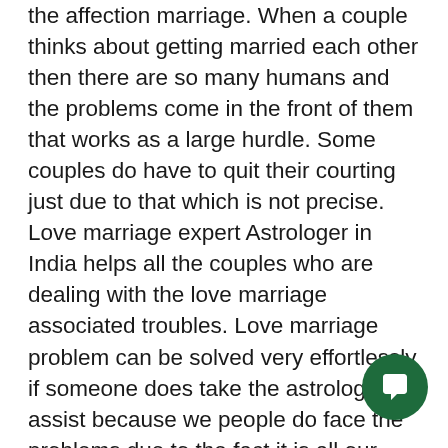the affection marriage. When a couple thinks about getting married each other then there are so many humans and the problems come in the front of them that works as a large hurdle. Some couples do have to quit their courting just due to that which is not precise. Love marriage expert Astrologer in India helps all the couples who are dealing with the love marriage associated troubles. Love marriage problem can be solved very effortlessly if someone does take the astrological assist because we people do face the problems due to the fact it is all our planets that purpose the problems in our life. Love marriage specialist Astrologer in India Love marriage expert Astrologer in India There are some planets the ones are related to our married existence a while displaced from their function and we do need to face delay in our love marriage or a few different sort of the issues. Love marriage
[Figure (other): Green circular chat button with a speech bubble icon in the bottom right corner]